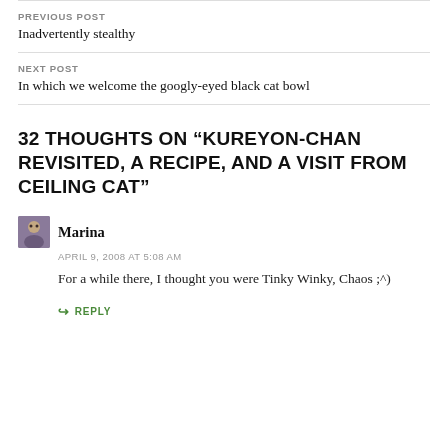PREVIOUS POST
Inadvertently stealthy
NEXT POST
In which we welcome the googly-eyed black cat bowl
32 THOUGHTS ON “KUREYON-CHAN REVISITED, A RECIPE, AND A VISIT FROM CEILING CAT”
Marina
APRIL 9, 2008 AT 5:08 AM
For a while there, I thought you were Tinky Winky, Chaos ;^)
REPLY